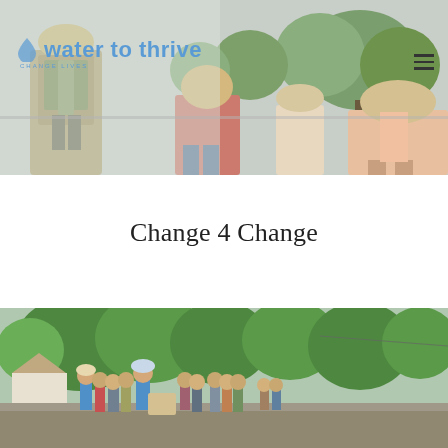[Figure (photo): Header photo showing people walking from behind, wearing hats and backpacks, outdoors with trees in background. Water to Thrive logo and tagline overlaid on top left.]
Change 4 Change
[Figure (photo): Photo of a group of people walking outdoors on a sunny day with green trees. A person in a blue shirt is visible from behind holding a sign. A circular back-to-top button with an up arrow is visible on the right side.]